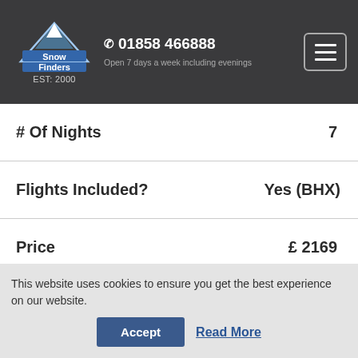[Figure (logo): Snow Finders logo with mountain graphic, white text on dark background. EST: 2000 below logo.]
01858 466888
Open 7 days a week including evenings
| # Of Nights | 7 |
| Flights Included? | Yes (BHX) |
| Price | £ 2169 |
This website uses cookies to ensure you get the best experience on our website.
Accept  Read More